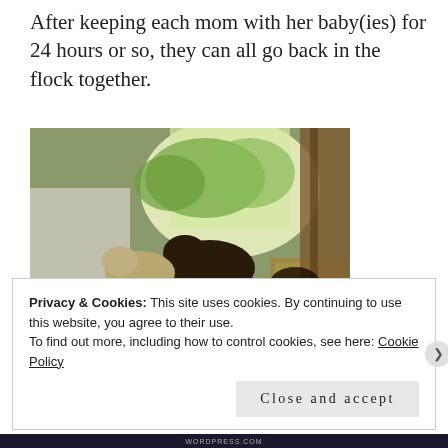After keeping each mom with her baby(ies) for 24 hours or so, they can all go back in the flock together.
[Figure (photo): Photograph of sheep and lambs in a barn on hay, with wooden walls and green trees visible in the background through an opening.]
Privacy & Cookies: This site uses cookies. By continuing to use this website, you agree to their use.
To find out more, including how to control cookies, see here: Cookie Policy
Close and accept